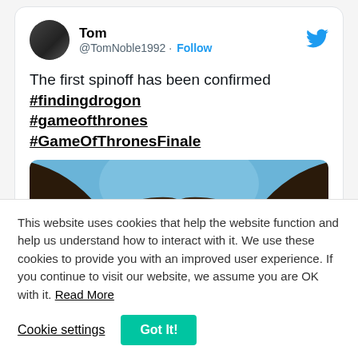[Figure (screenshot): Screenshot of a tweet by Tom (@TomNoble1992) with a Follow button and Twitter bird icon. The tweet text reads: 'The first spinoff has been confirmed #findingdrogon #gameofthrones #GameOfThronesFinale'. Below the text is a partially visible image showing what appears to be dragon wings against a blue sky.]
This website uses cookies that help the website function and help us understand how to interact with it. We use these cookies to provide you with an improved user experience. If you continue to visit our website, we assume you are OK with it. Read More
Cookie settings
Got It!